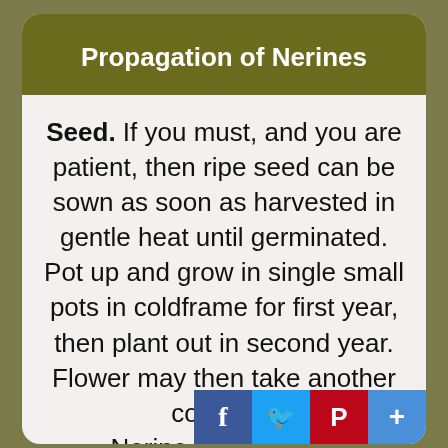Propagation of Nerines
Seed. If you must, and you are patient, then ripe seed can be sown as soon as harvested in gentle heat until germinated. Pot up and grow in single small pots in coldframe for first year, then plant out in second year. Flower may then take another couple of [years.] Nerine bulbs from a...